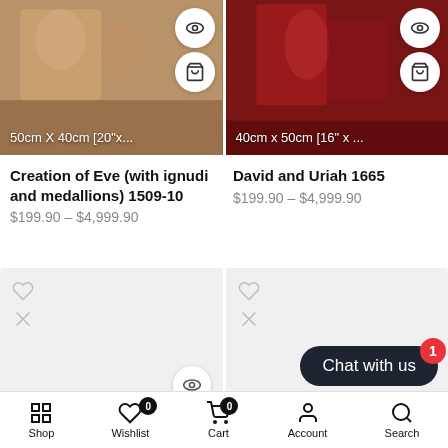[Figure (photo): Two product listing images at top: left shows 'Creation of Eve' painting fragment with size label '50cm X 40cm [20"x...' and action buttons; right shows 'David and Uriah 1665' painting fragment with size label '40cm x 50cm [16" x ...' and action buttons]
Creation of Eve (with ignudi and medallions) 1509-10
$199.90 – $4,999.90
David and Uriah 1665
$199.90 – $4,999.90
[Figure (photo): Two loading/placeholder product cards with heart and broken-image icons; bottom-left card has eye icon button]
Chat with us
Shop   Wishlist 0   Cart 0   Account   Search